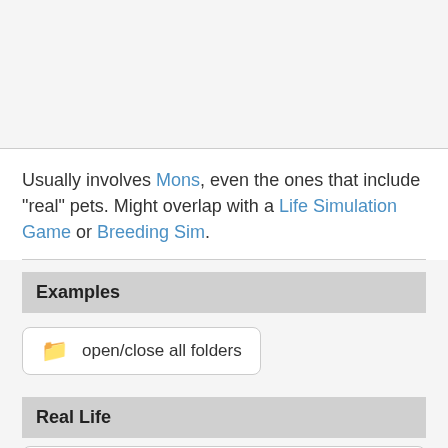Usually involves Mons, even the ones that include "real" pets. Might overlap with a Life Simulation Game or Breeding Sim.
Examples
open/close all folders
Real Life